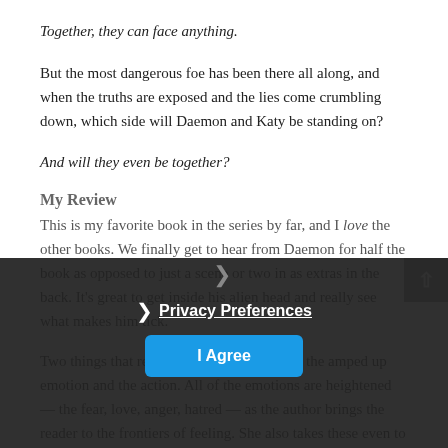Together, they can face anything.
But the most dangerous foe has been there all along, and when the truths are exposed and the lies come crumbling down, which side will Daemon and Katy be standing on?
And will they even be together?
My Review
This is my favorite book in the series by far, and I love the other books. We finally get to hear from Daemon for half the book as opposed to just a scene or two in as extras in the back. It’s great to get inside his alien head and really see what makes him tick.
Two things that really work in this book are the amped up emotion and the action. All of the emotions are heightened — the fear, love, anger, hatred — as the author brings the reader to the frontiers of feeling. She also takes these even to a deeper level and creates this tension between similar can concepts that between the two previously...  Daemon and Katy seem a little much alike as people and for the same general...
Privacy Preferences
I Agree